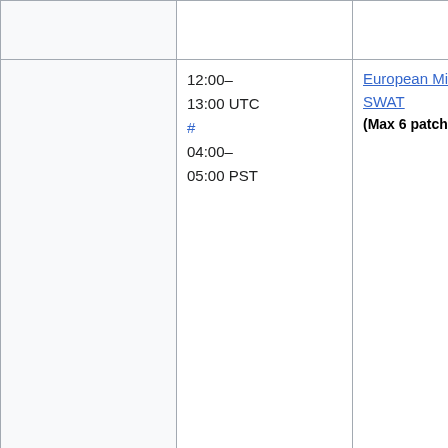|  | Time | Event | Deployers |
| --- | --- | --- | --- |
|  | or Željko (zelj |  |  |
|  | 12:00–13:00 UTC # 04:00–05:00 PST | European Mid-day SWAT (Max 6 patches) | addshore, Ant (hashar), Katie (aude), Max (MaxSem), Muk (twentyafter Roan (RoanKattouw Sébastien (Dereckson), T (thcipriani), Niharika (Niha or Željko (zelj |
|  | 13:00–14:00 UTC # 05:00–06:00 PST | Pre MediaWiki train sanity break |  |
|  | 14:00– |  |  |